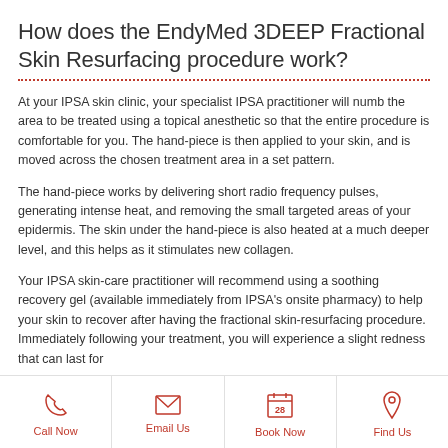How does the EndyMed 3DEEP Fractional Skin Resurfacing procedure work?
At your IPSA skin clinic, your specialist IPSA practitioner will numb the area to be treated using a topical anesthetic so that the entire procedure is comfortable for you. The hand-piece is then applied to your skin, and is moved across the chosen treatment area in a set pattern.
The hand-piece works by delivering short radio frequency pulses, generating intense heat, and removing the small targeted areas of your epidermis. The skin under the hand-piece is also heated at a much deeper level, and this helps as it stimulates new collagen.
Your IPSA skin-care practitioner will recommend using a soothing recovery gel (available immediately from IPSA's onsite pharmacy) to help your skin to recover after having the fractional skin-resurfacing procedure. Immediately following your treatment, you will experience a slight redness that can last for
Call Now | Email Us | Book Now | Find Us